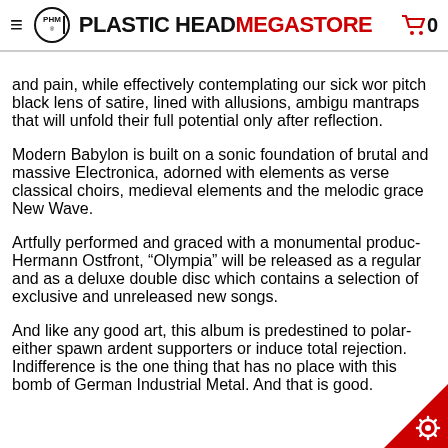PLASTIC HEAD MEGASTORE 0
and pain, while effectively contemplating our sick wor pitch black lens of satire, lined with allusions, ambig mantraps that will unfold their full potential only afte reflection.
Modern Babylon is built on a sonic foundation of bru and massive Electronica, adorned with elements as ve classical choirs, medieval elements and the melodic gr New Wave.
Artfully performed and graced with a monumental pr Hermann Ostfront, “Olympia” will be released as a reg and as a deluxe double disc which contains a selectio exclusive and unreleased new songs.
And like any good art, this album is predestined to po either spawn ardent supporters or induce total rejec Indifference is the one thing that has no place with bomb of German Industrial Metal. And that is go